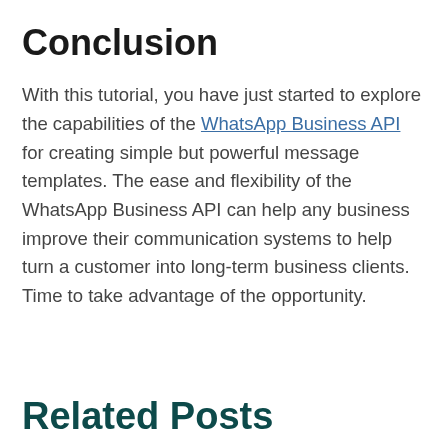Conclusion
With this tutorial, you have just started to explore the capabilities of the WhatsApp Business API for creating simple but powerful message templates. The ease and flexibility of the WhatsApp Business API can help any business improve their communication systems to help turn a customer into long-term business clients. Time to take advantage of the opportunity.
Related Posts